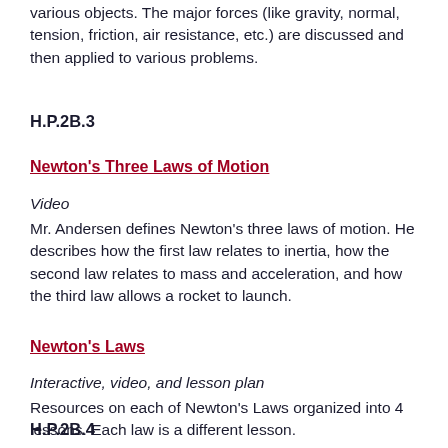various objects. The major forces (like gravity, normal, tension, friction, air resistance, etc.) are discussed and then applied to various problems.
H.P.2B.3
Newton's Three Laws of Motion
Video
Mr. Andersen defines Newton's three laws of motion. He describes how the first law relates to inertia, how the second law relates to mass and acceleration, and how the third law allows a rocket to launch.
Newton's Laws
Interactive, video, and lesson plan
Resources on each of Newton's Laws organized into 4 lessons. Each law is a different lesson.
H.P.2B.4